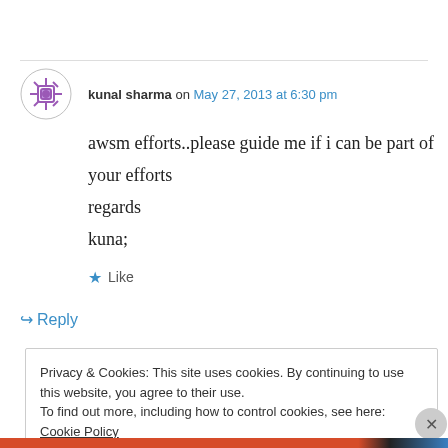kunal sharma on May 27, 2013 at 6:30 pm
awsm efforts..please guide me if i can be part of your efforts
regards
kuna;
★ Like
↪ Reply
Privacy & Cookies: This site uses cookies. By continuing to use this website, you agree to their use.
To find out more, including how to control cookies, see here: Cookie Policy
Close and accept